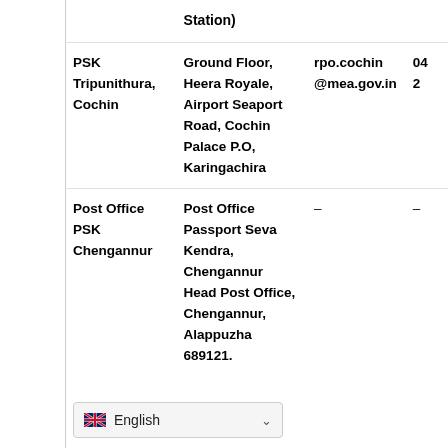Station)
| Name | Address | Email | Phone |
| --- | --- | --- | --- |
| PSK Tripunithura, Cochin | Ground Floor, Heera Royale, Airport Seaport Road, Cochin Palace P.O, Karingachira | rpo.cochin@mea.gov.in | 04...2... |
| Post Office PSK Chengannur | Post Office Passport Seva Kendra, Chengannur Head Post Office, Chengannur, Alappuzha 689121. | – | – |
English